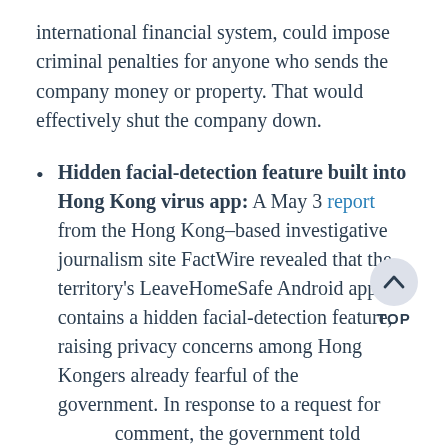international financial system, could impose criminal penalties for anyone who sends the company money or property. That would effectively shut the company down.
Hidden facial-detection feature built into Hong Kong virus app: A May 3 report from the Hong Kong–based investigative journalism site FactWire revealed that the territory's LeaveHomeSafe Android app contains a hidden facial-detection feature, raising privacy concerns among Hong Kongers already fearful of the government. In response to a request for comment, the government told FactWire the feature had never been used and asked the contractor to remove it from the app, which is required to enter most premises in Hong Kong,